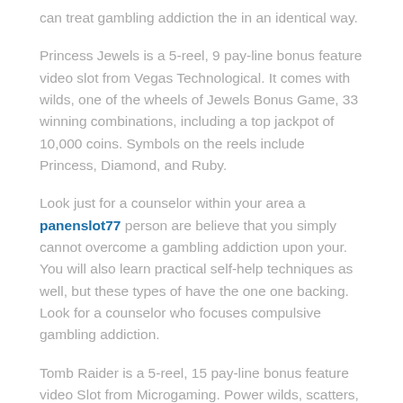can treat gambling addiction the in an identical way.
Princess Jewels is a 5-reel, 9 pay-line bonus feature video slot from Vegas Technological. It comes with wilds, one of the wheels of Jewels Bonus Game, 33 winning combinations, including a top jackpot of 10,000 coins. Symbols on the reels include Princess, Diamond, and Ruby.
Look just for a counselor within your area a panenslot77 person are believe that you simply cannot overcome a gambling addiction upon your. You will also learn practical self-help techniques as well, but these types of have the one one backing. Look for a counselor who focuses compulsive gambling addiction.
Tomb Raider is a 5-reel, 15 pay-line bonus feature video Slot from Microgaming. Power wilds, scatters, a Tomb Bonus Game, 10 free spins, 35 winning combinations, and a premier jackpot of 7,500 money. Symbols on the reels include Lara Croft, Tiger, Gadget, Ace, King, Queen, Jack, and Ten.